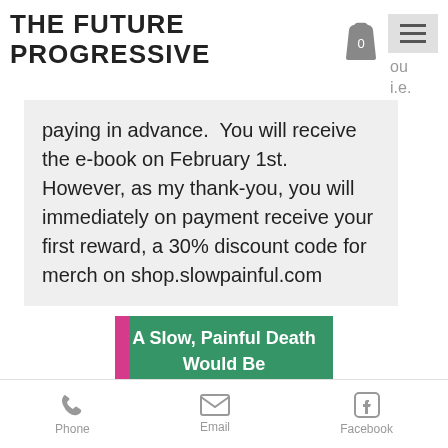THE FUTURE PROGRESSIVE
paying in advance.  You will receive the e-book on February 1st.  However, as my thank-you, you will immediately on payment receive your first reward, a 30% discount code for merch on shop.slowpainful.com
[Figure (photo): Book cover showing 'A Slow, Painful Death Would Be Too Good For You (and other observations)' with pink and green design]
Phone  Email  Facebook